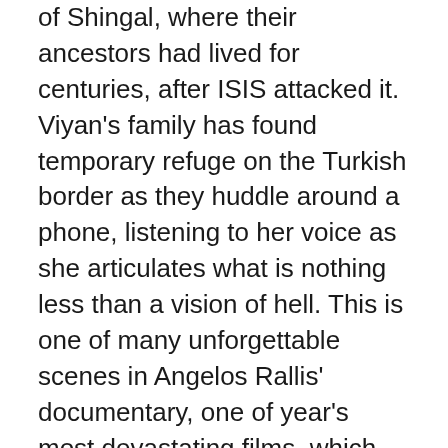of Shingal, where their ancestors had lived for centuries, after ISIS attacked it. Viyan's family has found temporary refuge on the Turkish border as they huddle around a phone, listening to her voice as she articulates what is nothing less than a vision of hell. This is one of many unforgettable scenes in Angelos Rallis' documentary, one of year's most devastating films, which should be considered required viewing for every American citizen. The lack of music in the picture is appropriate, since there is no levity provided for the Yezidis' alienation. Yet I could swear I heard traces of a mournful choir amidst the wind as Havind, Viyan's father, walks with his son through the bombed-out remains of Shingal. The boy returns to his house, digging out a plant from a pile of rubble on the bed and placing it on the floor. He then takes a framed baby picture off the wall and cradles it like a newborn before smashing it to pieces in order to complete the damage